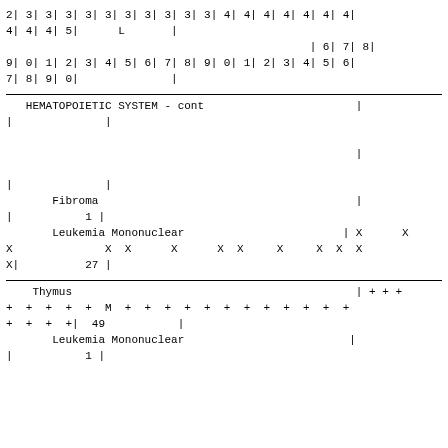2| 3| 3| 3| 3| 3| 3| 3| 3| 3| 3| 4| 4| 4| 4| 4| 4| 4|
4| 4| 4| 5|      L       |
| 6| 7| 8|
9| 0| 1| 2| 3| 4| 5| 6| 7| 8| 9| 0| 1| 2| 3| 4| 5| 6|
7| 8| 9| 0|              |
HEMATOPOIETIC SYSTEM - cont
|              |

                                                     |

|              |
       Fibroma                                        |
|           1 |
       Leukemia Mononuclear                         | X      X
X                X  X      X      X  X     X     X  X  X
X|          27 |
Thymus                                            | + + +
+  +  +  +  +  M  +  +  +  +  +  +  +  +  +  +  +  +
+  +  +  +|  49           |
       Leukemia Mononuclear                          |
|           1 |